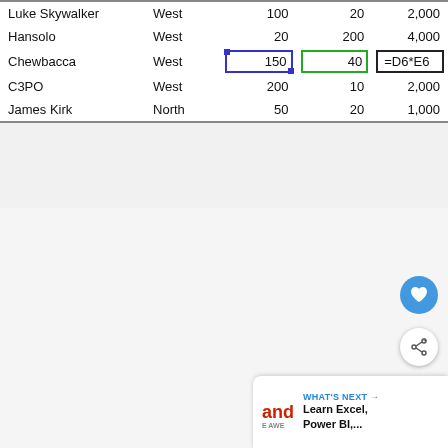| Luke Skywalker | West | 100 | 20 | 2,000 |
| Hansolo | West | 20 | 200 | 4,000 |
| Chewbacca | West | 150 | 40 | =D6*E6 |
| C3PO | West | 200 | 10 | 2,000 |
| James Kirk | North | 50 | 20 | 1,000 |
[Figure (screenshot): Floating UI buttons: a blue heart/like button and a share button]
WHAT'S NEXT → Learn Excel, Power BI,...